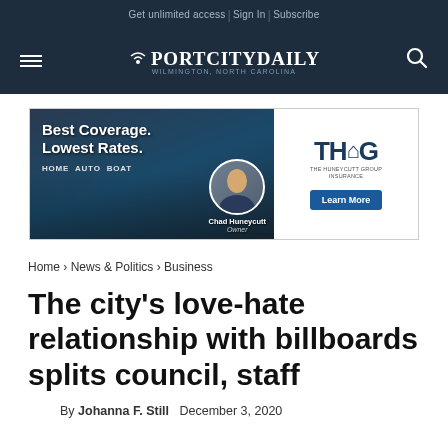Get unlimited access | Sign In | Subscribe
[Figure (logo): Port City Daily logo with antenna/wifi icon, Wilmington, North Carolina]
[Figure (infographic): Advertisement: The Huneycutt Group Insurance. Best Coverage. Lowest Rates. Home Auto Boat. Chad Huneycutt, Owner. THG. Learn More button.]
Home › News & Politics › Business
The city's love-hate relationship with billboards splits council, staff
By Johanna F. Still   December 3, 2020